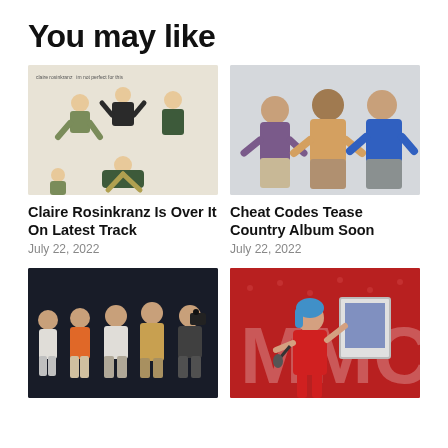You may like
[Figure (photo): Claire Rosinkranz album art showing multiple figures in dynamic poses on white background with text 'claire rosinkranz' and 'im not perfect for this']
[Figure (photo): Cheat Codes band photo showing three young men standing against a light grey background]
Claire Rosinkranz Is Over It On Latest Track
July 22, 2022
Cheat Codes Tease Country Album Soon
July 22, 2022
[Figure (photo): Band of five men in pastel-colored outfits standing against a dark background]
[Figure (photo): Woman with blue hair at an award show accepting an award on a red stage with large logo backdrop]